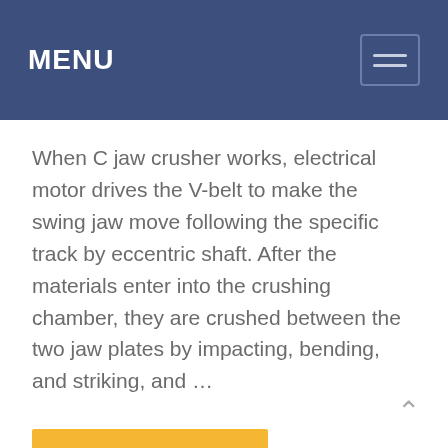MENU
When C jaw crusher works, electrical motor drives the V-belt to make the swing jaw move following the specific track by eccentric shaft. After the materials enter into the crushing chamber, they are crushed between the two jaw plates by impacting, bending, and striking, and …
Learn More